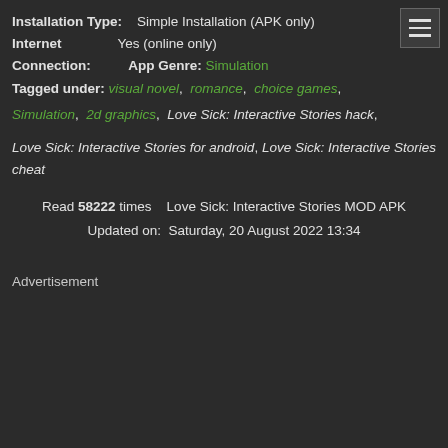Installation Type: Simple Installation (APK only)
Internet Connection: Yes (online only) App Genre: Simulation
Tagged under: visual novel, romance, choice games, Simulation, 2d graphics, Love Sick: Interactive Stories hack, Love Sick: Interactive Stories for android, Love Sick: Interactive Stories cheat
Read 58222 times Love Sick: Interactive Stories MOD APK Updated on: Saturday, 20 August 2022 13:34
Advertisement